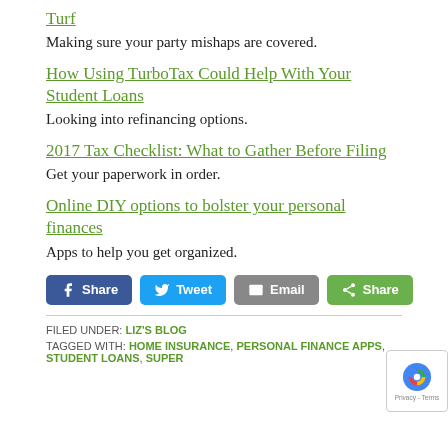Turf
Making sure your party mishaps are covered.
How Using TurboTax Could Help With Your Student Loans
Looking into refinancing options.
2017 Tax Checklist: What to Gather Before Filing
Get your paperwork in order.
Online DIY options to bolster your personal finances
Apps to help you get organized.
Share Tweet Email Share
FILED UNDER: LIZ'S BLOG
TAGGED WITH: HOME INSURANCE, PERSONAL FINANCE APPS, STUDENT LOANS, SUPER